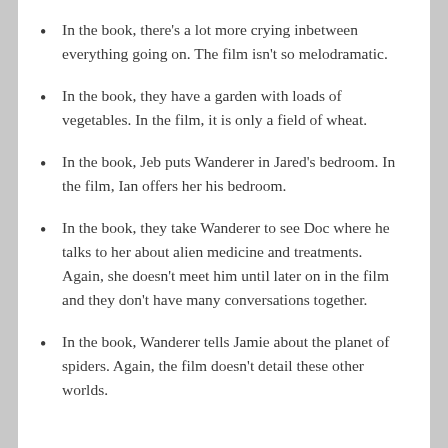In the book, there's a lot more crying inbetween everything going on. The film isn't so melodramatic.
In the book, they have a garden with loads of vegetables. In the film, it is only a field of wheat.
In the book, Jeb puts Wanderer in Jared's bedroom. In the film, Ian offers her his bedroom.
In the book, they take Wanderer to see Doc where he talks to her about alien medicine and treatments. Again, she doesn't meet him until later on in the film and they don't have many conversations together.
In the book, Wanderer tells Jamie about the planet of spiders. Again, the film doesn't detail these other worlds.